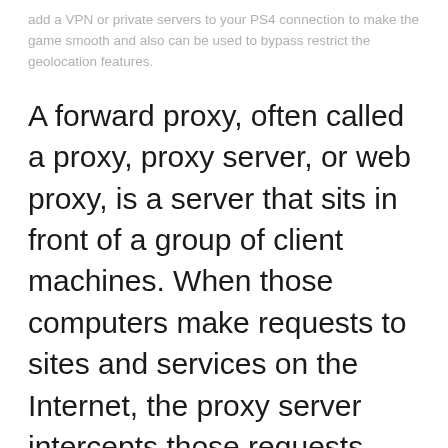add a VPN or private servers to your PS4 connection to make the game smooth and also can be used to bypass restrict the geolocation features.
A forward proxy, often called a proxy, proxy server, or web proxy, is a server that sits in front of a group of client machines. When those computers make requests to sites and services on the Internet, the proxy server intercepts those requests and then communicates with web servers on behalf of those clients, like a middleman.